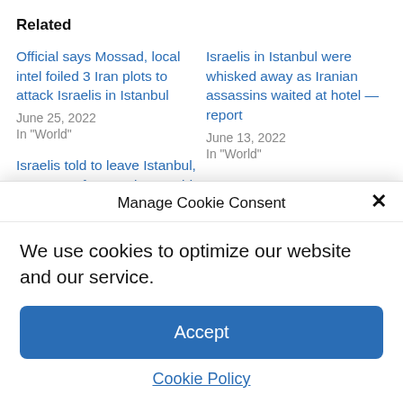Related
Official says Mossad, local intel foiled 3 Iran plots to attack Israelis in Istanbul
June 25, 2022
In "World"
Israelis in Istanbul were whisked away as Iranian assassins waited at hotel — report
June 13, 2022
In "World"
Israelis told to leave Istanbul, stay away from Turkey, amid Iran terror
Manage Cookie Consent
We use cookies to optimize our website and our service.
Accept
Cookie Policy